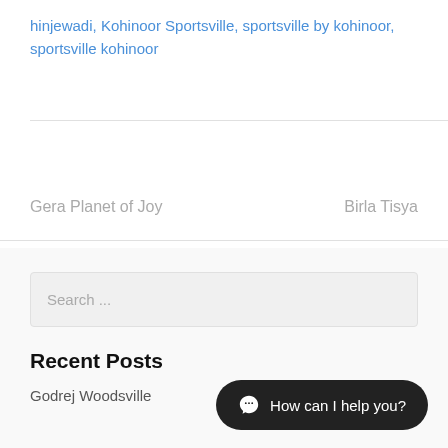hinjewadi, Kohinoor Sportsville, sportsville by kohinoor, sportsville kohinoor
Gera Planet of Joy
Birla Tisya
Search ...
Recent Posts
Godrej Woodsville
How can I help you?